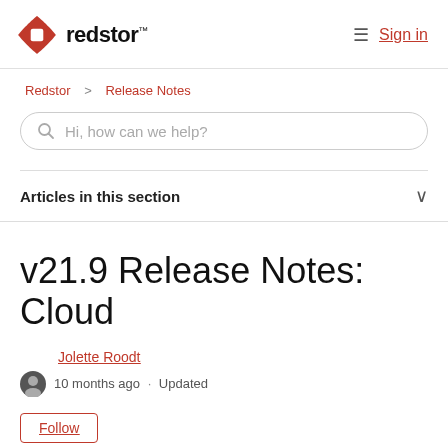[Figure (logo): Redstor logo with red four-pointed star icon and 'redstor' text]
Sign in
Redstor > Release Notes
Hi, how can we help?
Articles in this section
v21.9 Release Notes: Cloud
Jolette Roodt
10 months ago · Updated
Follow